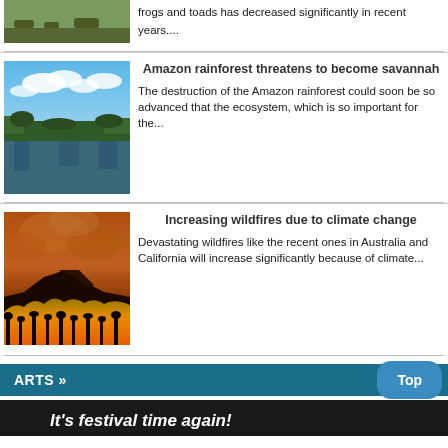[Figure (photo): Partial view of frogs/toads or nature scene at top of page (cropped)]
frogs and toads has decreased significantly in recent years....
[Figure (photo): Amazon rainforest photo showing river/lake with clouds and lush green vegetation]
Amazon rainforest threatens to become savannah
The destruction of the Amazon rainforest could soon be so advanced that the ecosystem, which is so important for the...
[Figure (photo): Wildfire photo showing orange smoke and flames against a dark silhouetted landscape]
Increasing wildfires due to climate change
Devastating wildfires like the recent ones in Australia and California will increase significantly because of climate...
ARTS »
[Figure (photo): Partial view of a festival scene, dark background with text 'It's festival time again!']